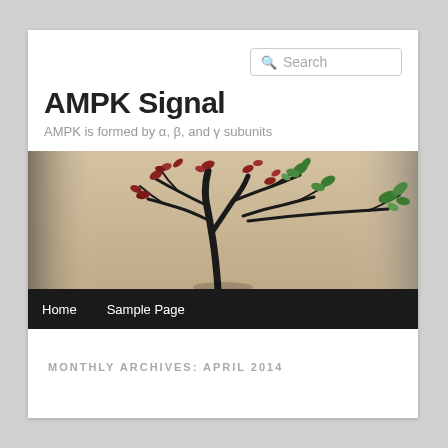AMPK Signal
AMPK is formed by α, β, and γ subunits
[Figure (photo): Bonsai tree with dark branches and red and green leaves against a beige/tan blurred background]
Home   Sample Page
MONTHLY ARCHIVES: APRIL 2014